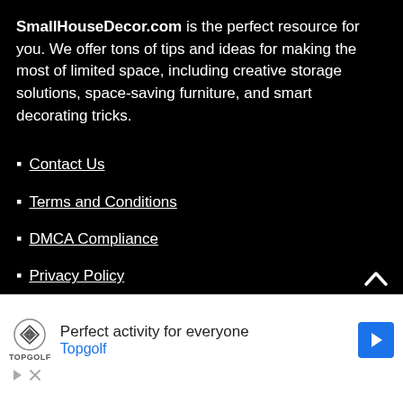SmallHouseDecor.com is the perfect resource for you. We offer tons of tips and ideas for making the most of limited space, including creative storage solutions, space-saving furniture, and smart decorating tricks.
Contact Us
Terms and Conditions
DMCA Compliance
Privacy Policy
Anti-Spam Policy
[Figure (infographic): Advertisement for Topgolf featuring logo, tagline 'Perfect activity for everyone', brand name in blue, blue diamond arrow icon, and ad control icons (play and close).]